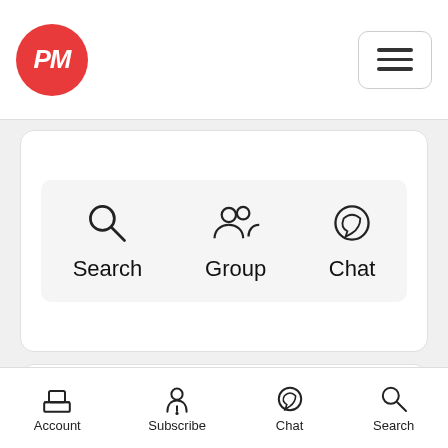PM logo and hamburger menu
[Figure (screenshot): App navigation card with Search, Group, and Chat options displayed as icons with labels]
[Figure (photo): Blurred photo of a person showing top of head with dark hair against a light background]
Account | Subscribe | Chat | Search